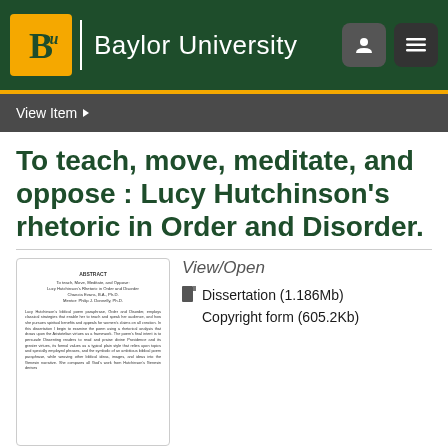[Figure (logo): Baylor University header with BU logo, university name, and navigation icons on dark green background]
View Item
To teach, move, meditate, and oppose : Lucy Hutchinson's rhetoric in Order and Disorder.
[Figure (screenshot): Thumbnail of the dissertation abstract page showing title, author, and abstract text]
View/Open
Dissertation (1.186Mb)
Copyright form (605.2Kb)